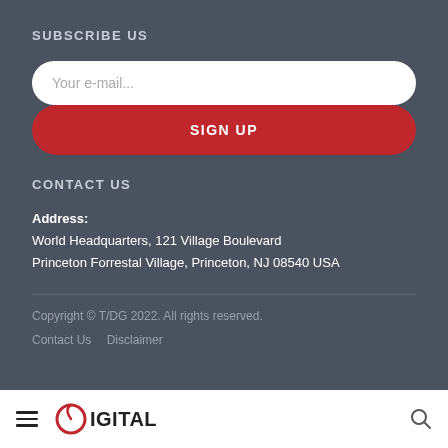SUBSCRIBE US
Your e-mail...
SIGN UP
CONTACT US
Address:
World Headquarters, 121 Village Boulevard
Princeton Forrestal Village, Princeton, NJ 08540 USA
Copyright © T/DG 2022. All rights reserved.
Contact Us   Disclaimer